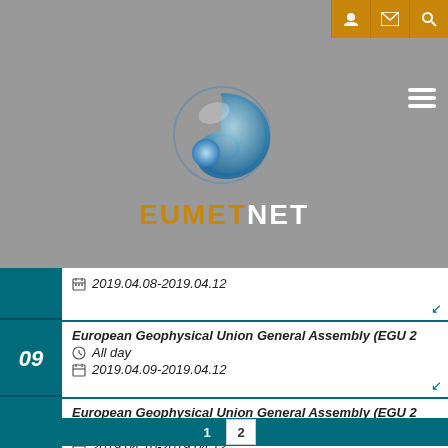[Figure (logo): EUMETNET logo - spiral globe icon with EUMETNET text below]
2019.04.08-2019.04.12
European Geophysical Union General Assembly (EGU 2 | All day | 2019.04.09-2019.04.12
European Geophysical Union General Assembly (EGU 2 | All day | 2019.04.10-2019.04.12
European Geophysical Union General Assembly (EGU 2 | All day | 2019.04.11-2019.04.12